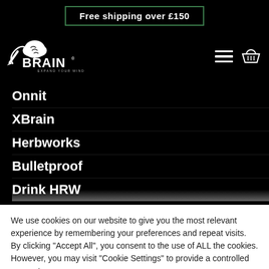Free shipping over £150
[Figure (logo): XBrain logo with brain icon and tagline 'EXPAND YOUR MIND']
Onnit
XBrain
Herbworks
Bulletproof
Drink HRW
We use cookies on our website to give you the most relevant experience by remembering your preferences and repeat visits. By clicking "Accept All", you consent to the use of ALL the cookies. However, you may visit "Cookie Settings" to provide a controlled consent.
Cookie Settings
Accept All